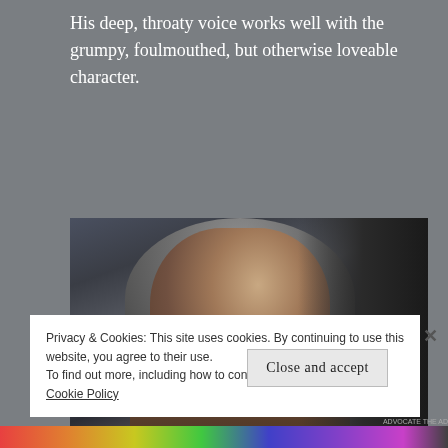His deep, throaty voice works well with the grumpy, foulmouthed, but otherwise loveable character.
[Figure (photo): Screenshot from a video game or film showing an older man with long grey hair and a white beard, wearing a brown jacket, looking intensely at another person whose back is visible on the right side.]
Privacy & Cookies: This site uses cookies. By continuing to use this website, you agree to their use.
To find out more, including how to control cookies, see here: Cookie Policy